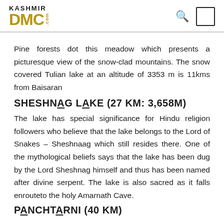KASHMIR DMC.com
Pine forests dot this meadow which presents a picturesque view of the snow-clad mountains. The snow covered Tulian lake at an altitude of 3353 m is 11kms from Baisaran
SHESHNAG LAKE (27 KM: 3,658M)
The lake has special significance for Hindu religion followers who believe that the lake belongs to the Lord of Snakes – Sheshnaag which still resides there. One of the mythological beliefs says that the lake has been dug by the Lord Sheshnag himself and thus has been named after divine serpent. The lake is also sacred as it falls enrouteto the holy Amarnath Cave.
PANCHTARNI (40 KM)